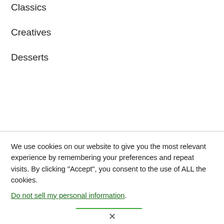Classics
Creatives
Desserts
We use cookies on our website to give you the most relevant experience by remembering your preferences and repeat visits. By clicking “Accept”, you consent to the use of ALL the cookies.
Do not sell my personal information.
Cookie settings ... [Accept button]
X